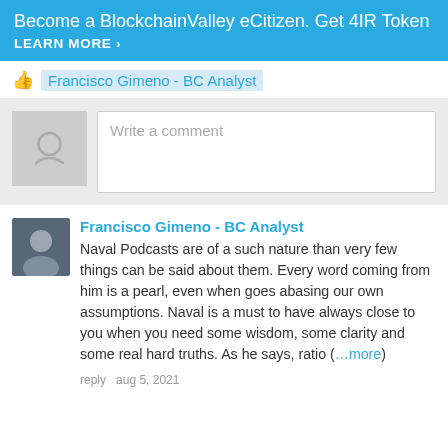Become a BlockchainValley eCitizen. Get 4IR Token LEARN MORE ›
👍 Francisco Gimeno - BC Analyst
[Figure (other): Comment input box with smiley face avatar placeholder and 'Write a comment' placeholder text]
Francisco Gimeno - BC Analyst
Naval Podcasts are of a such nature than very few things can be said about them. Every word coming from him is a pearl, even when goes abasing our own assumptions. Naval is a must to have always close to you when you need some wisdom, some clarity and some real hard truths. As he says, ratio (…more)
reply   aug 5, 2021